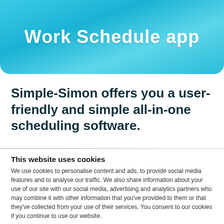[Figure (screenshot): Blue gradient banner at top showing 'Work Schedule app' text in white bold letters]
Simple-Simon offers you a user-friendly and simple all-in-one scheduling software.
This website uses cookies
We use cookies to personalise content and ads, to provide social media features and to analyse our traffic. We also share information about your use of our site with our social media, advertising and analytics partners who may combine it with other information that you've provided to them or that they've collected from your use of their services. You consent to our cookies if you continue to use our website.
Allow all cookies
Show details